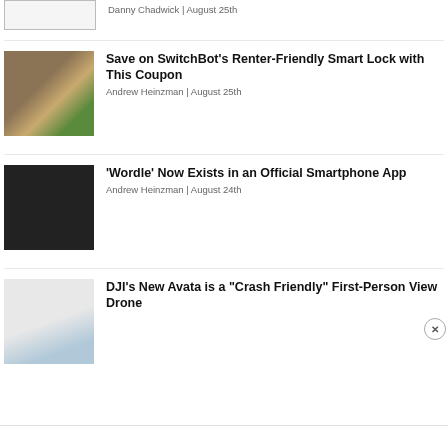[Figure (photo): Partial image placeholder at top]
Danny Chadwick | August 25th
[Figure (photo): SwitchBot smart lock mounted on a wooden door frame]
Save on SwitchBot’s Renter-Friendly Smart Lock with This Coupon
Andrew Heinzman | August 25th
[Figure (photo): Hand holding a smartphone displaying the Wordle app]
‘Wordle’ Now Exists in an Official Smartphone App
Andrew Heinzman | August 24th
[Figure (photo): DJI Avata drone on a light surface]
DJI’s New Avata is a “Crash Friendly” First-Person View Drone